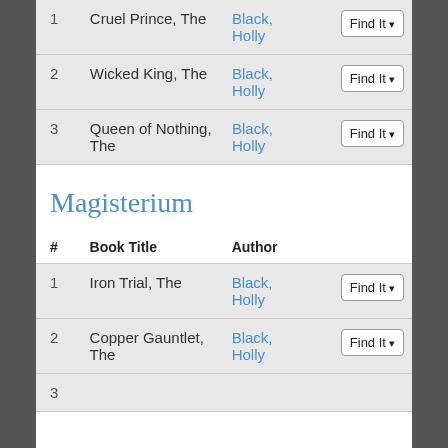| # | Book Title | Author |  |
| --- | --- | --- | --- |
| 1 | Cruel Prince, The | Black, Holly | Find It |
| 2 | Wicked King, The | Black, Holly | Find It |
| 3 | Queen of Nothing, The | Black, Holly | Find It |
Magisterium
| # | Book Title | Author |  |
| --- | --- | --- | --- |
| 1 | Iron Trial, The | Black, Holly | Find It |
| 2 | Copper Gauntlet, The | Black, Holly | Find It |
| 3 | ... | Black, Holly | Find It |